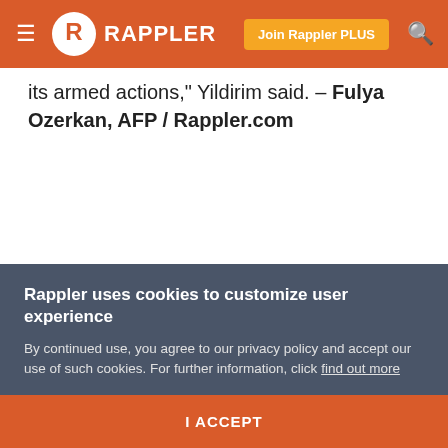RAPPLER | Join Rappler PLUS
its armed actions," Yildirim said. – Fulya Ozerkan, AFP / Rappler.com
See Also
President Duterte announces retirement from politics
Rappler uses cookies to customize user experience
By continued use, you agree to our privacy policy and accept our use of such cookies. For further information, click find out more
I ACCEPT